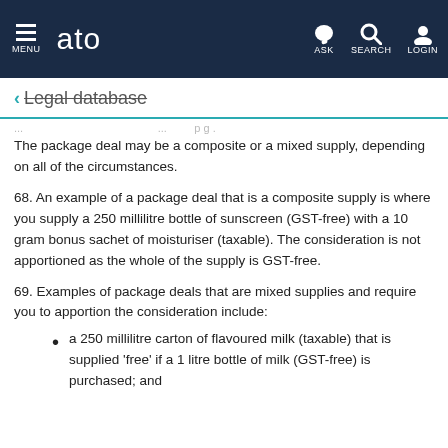MENU | ato | ASK | SEARCH | LOGIN
← Legal database
The package deal may be a composite or a mixed supply, depending on all of the circumstances.
68. An example of a package deal that is a composite supply is where you supply a 250 millilitre bottle of sunscreen (GST-free) with a 10 gram bonus sachet of moisturiser (taxable). The consideration is not apportioned as the whole of the supply is GST-free.
69. Examples of package deals that are mixed supplies and require you to apportion the consideration include:
a 250 millilitre carton of flavoured milk (taxable) that is supplied 'free' if a 1 litre bottle of milk (GST-free) is purchased; and